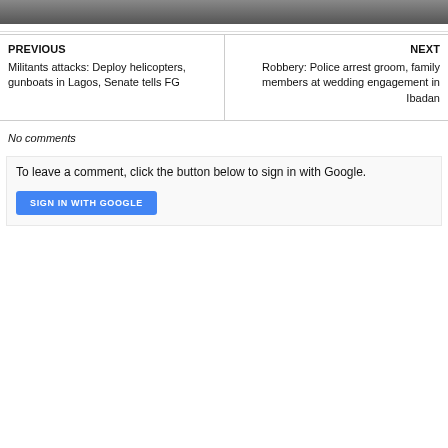[Figure (photo): Partial view of a news article image at top of page]
PREVIOUS
Militants attacks: Deploy helicopters, gunboats in Lagos, Senate tells FG
NEXT
Robbery: Police arrest groom, family members at wedding engagement in Ibadan
No comments
To leave a comment, click the button below to sign in with Google.
SIGN IN WITH GOOGLE